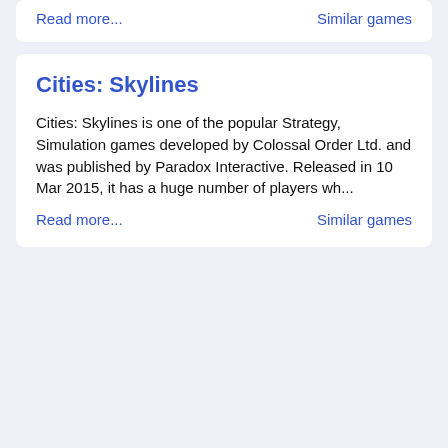Read more...
Similar games
Cities: Skylines
Cities: Skylines is one of the popular Strategy, Simulation games developed by Colossal Order Ltd. and was published by Paradox Interactive. Released in 10 Mar 2015, it has a huge number of players wh...
Read more...
Similar games